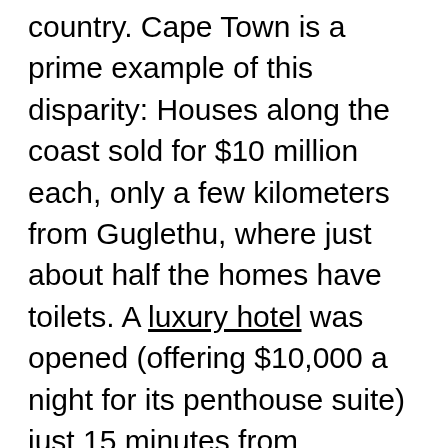country. Cape Town is a prime example of this disparity: Houses along the coast sold for $10 million each, only a few kilometers from Guglethu, where just about half the homes have toilets. A luxury hotel was opened (offering $10,000 a night for its penthouse suite) just 15 minutes from Khayelitsha, a settlement where the per-capita income dropped to less than $2,000 a year. These disparities are all the more evident with the drought. While the more affluent have the means to hire companies to dig boreholes and wells, buy water bottles at highly inflated prices, and arrange for desalination machines, the poor have to wait for the